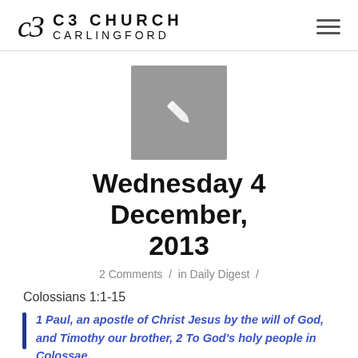C3 CHURCH CARLINGFORD
[Figure (illustration): Gray square thumbnail placeholder with a white pencil/edit icon in the center]
Wednesday 4 December, 2013
2 Comments / in Daily Digest /
Colossians 1:1-15
1 Paul, an apostle of Christ Jesus by the will of God, and Timothy our brother, 2 To God's holy people in Colossae,